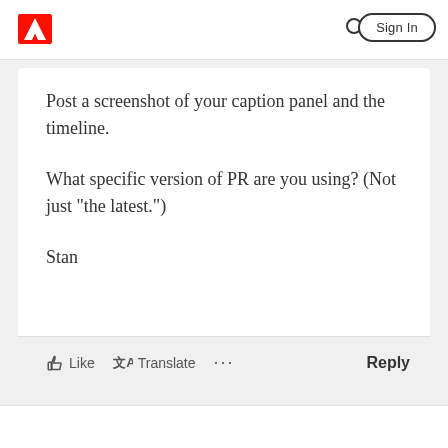[Figure (logo): Adobe logo — red square with white 'A' mark — in top left of navigation bar]
[Figure (screenshot): Adobe community forum page header with search icon and Sign In button]
Post a screenshot of your caption panel and the timeline.
What specific version of PR are you using? (Not just "the latest.")
Stan
Like   Translate   ...   Reply